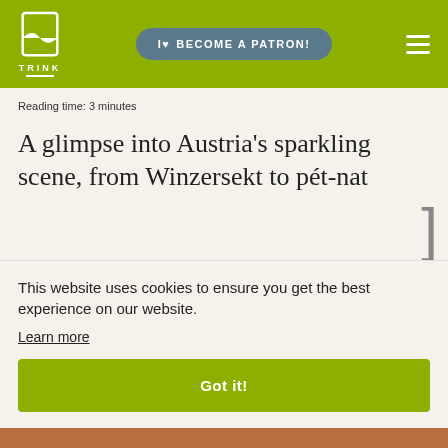TRINK | BECOME A PATRON!
Reading time: 3 minutes
A glimpse into Austria's sparkling scene, from Winzersekt to pét-nat
This website uses cookies to ensure you get the best experience on our website. Learn more Got it!